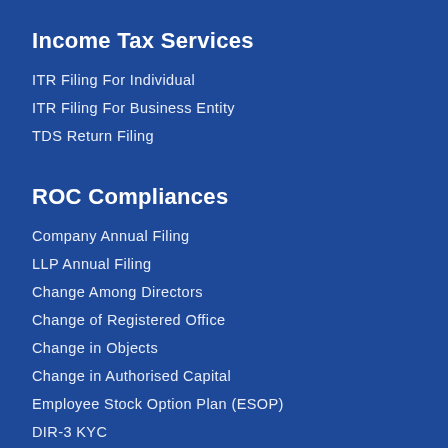Income Tax Services
ITR Filing For Individual
ITR Filing For Business Entity
TDS Return Filing
ROC Compliances
Company Annual Filing
LLP Annual Filing
Change Among Directors
Change of Registered Office
Change in Objects
Change in Authorised Capital
Employee Stock Option Plan (ESOP)
DIR-3 KYC